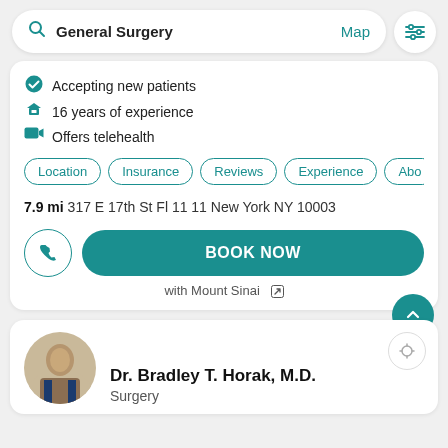[Figure (screenshot): Search bar showing 'General Surgery' with Map link and filter icon]
Accepting new patients
16 years of experience
Offers telehealth
Location | Insurance | Reviews | Experience | Abo (tab bar)
7.9 mi 317 E 17th St Fl 11 11 New York NY 10003
BOOK NOW
with Mount Sinai
Dr. Bradley T. Horak, M.D.
Surgery